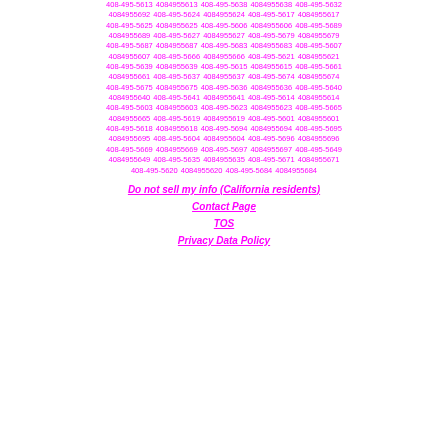408-495-5613 4084955613 408-495-5638 4084955638 408-495-5632 4084955692 408-495-5624 4084955624 408-495-5617 4084955617 408-495-5625 4084955625 408-495-5606 4084955606 408-495-5689 4084955689 408-495-5627 4084955627 408-495-5679 4084955679 408-495-5687 4084955687 408-495-5683 4084955683 408-495-5607 4084955607 408-495-5666 4084955666 408-495-5621 4084955621 408-495-5639 4084955639 408-495-5615 4084955615 408-495-5661 4084955661 408-495-5637 4084955637 408-495-5674 4084955674 408-495-5675 4084955675 408-495-5636 4084955636 408-495-5640 4084955640 408-495-5641 4084955641 408-495-5614 4084955614 408-495-5603 4084955603 408-495-5623 4084955623 408-495-5665 4084955665 408-495-5619 4084955619 408-495-5601 4084955601 408-495-5618 4084955618 408-495-5694 4084955694 408-495-5695 4084955695 408-495-5604 4084955604 408-495-5696 4084955696 408-495-5669 4084955669 408-495-5697 4084955697 408-495-5649 4084955649 408-495-5635 4084955635 408-495-5671 4084955671 408-495-5620 4084955620 408-495-5684 4084955684
Do not sell my info (California residents)
Contact Page
TOS
Privacy Data Policy